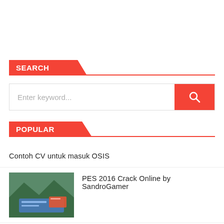SEARCH
[Figure (other): Search input box with red search button and magnifier icon]
POPULAR
Contoh CV untuk masuk OSIS
PES 2016 Crack Online by SandroGamer
Contoh pembukaan makalah dan karya tulis